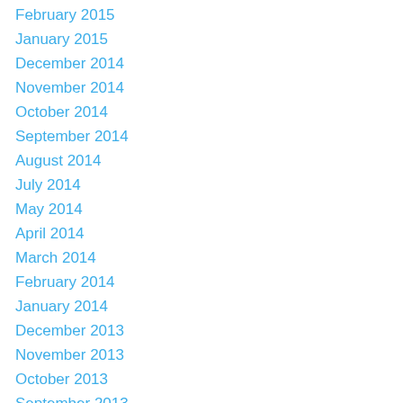February 2015
January 2015
December 2014
November 2014
October 2014
September 2014
August 2014
July 2014
May 2014
April 2014
March 2014
February 2014
January 2014
December 2013
November 2013
October 2013
September 2013
August 2013
July 2013
May 2013